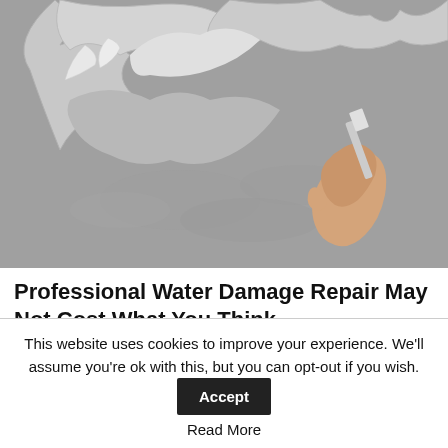[Figure (photo): A hand using a putty knife to scrape peeling paint or plaster from a water-damaged ceiling. The ceiling shows large areas of bubbling and peeling grey paint.]
Professional Water Damage Repair May Not Cost What You Think
Water Damage | Search Ads | Sponsored
This website uses cookies to improve your experience. We'll assume you're ok with this, but you can opt-out if you wish.  Accept  Read More